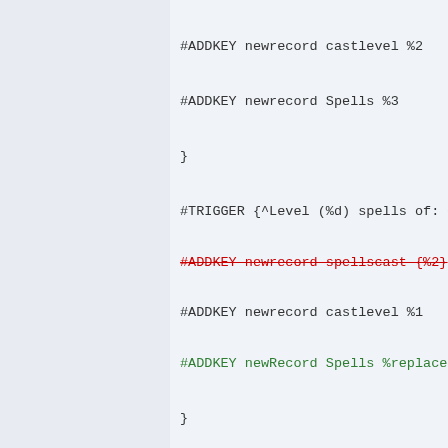#ADDKEY newrecord castlevel %2
#ADDKEY newrecord Spells %3
}
#TRIGGER {^Level (%d) spells of: ~'(*)~'.$} {
#ADDKEY newrecord spellscast {%2}
#ADDKEY newrecord castlevel %1
#ADDKEY newRecord Spells %replace( {%2
}